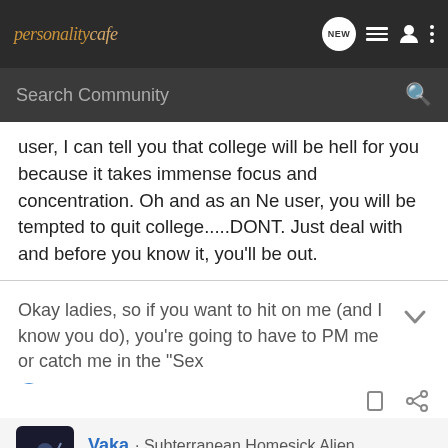personalitycafe
user, I can tell you that college will be hell for you because it takes immense focus and concentration. Oh and as an Ne user, you will be tempted to quit college.....DONT. Just deal with and before you know it, you'll be out.
Okay ladies, so if you want to hit on me (and I know you do), you're going to have to PM me or catch me in the "Sex
Vaka
Vaka · Subterranean Homesick Alien
Joined Feb 26, 2010 · 11,928 Posts